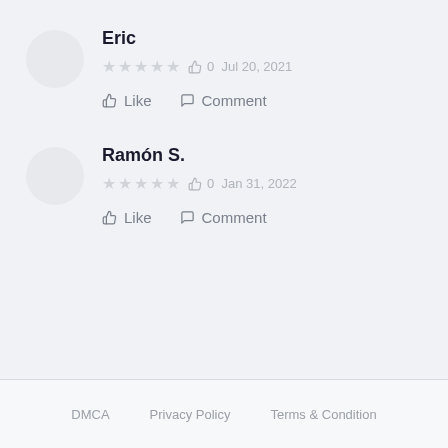Eric
★★★★★  👍 0  Jul 20, 2021
👍 Like  💬 Comment
Ramón S.
★★★★★  👍 0  Jan 31, 2022
👍 Like  💬 Comment
DMCA   Privacy Policy   Terms & Condition